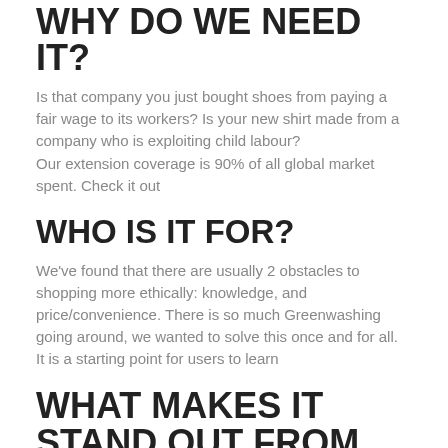WHY DO WE NEED IT?
Is that company you just bought shoes from paying a fair wage to its workers? Is your new shirt made from a company who is exploiting child labour?
Our extension coverage is 90% of all global market spent. Check it out
WHO IS IT FOR?
We've found that there are usually 2 obstacles to shopping more ethically: knowledge, and price/convenience. There is so much Greenwashing going around, we wanted to solve this once and for all.
It is a starting point for users to learn
WHAT MAKES IT STAND OUT FROM THE CROWD?
We are proud to call it the world's first Social Impact Platform Discover your impact. There are so many opportunities for